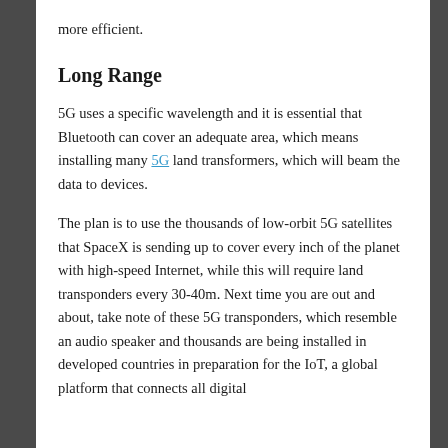more efficient.
Long Range
5G uses a specific wavelength and it is essential that Bluetooth can cover an adequate area, which means installing many 5G land transformers, which will beam the data to devices.
The plan is to use the thousands of low-orbit 5G satellites that SpaceX is sending up to cover every inch of the planet with high-speed Internet, while this will require land transponders every 30-40m. Next time you are out and about, take note of these 5G transponders, which resemble an audio speaker and thousands are being installed in developed countries in preparation for the IoT, a global platform that connects all digital